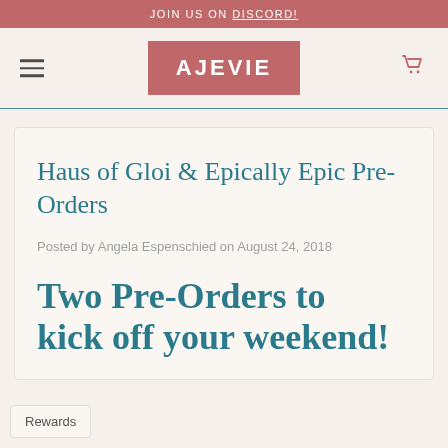JOIN US ON DISCORD!
AJEVIE
Haus of Gloi & Epically Epic Pre-Orders
Posted by Angela Espenschied on August 24, 2018
Two Pre-Orders to kick off your weekend!